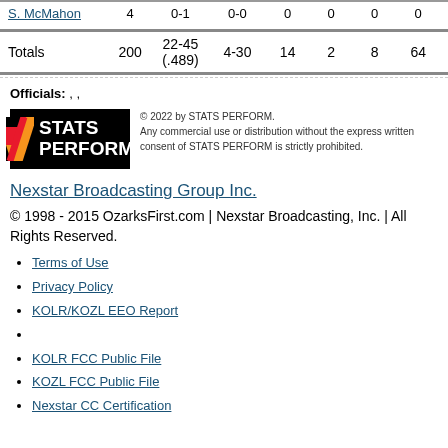| Player | Min | FG | 3PT | REB | AST | STL | PTS |
| --- | --- | --- | --- | --- | --- | --- | --- |
| S. McMahon | 4 | 0-1 | 0-0 | 0 | 0 | 0 | 0 |
| Totals | 200 | 22-45 (.489) | 4-30 | 14 | 2 | 8 | 64 |
Officials: , ,
[Figure (logo): STATS PERFORM logo with colored slash marks on black background]
© 2022 by STATS PERFORM. Any commercial use or distribution without the express written consent of STATS PERFORM is strictly prohibited.
Nexstar Broadcasting Group Inc.
© 1998 - 2015 OzarksFirst.com | Nexstar Broadcasting, Inc. | All Rights Reserved.
Terms of Use
Privacy Policy
KOLR/KOZL EEO Report
KOLR FCC Public File
KOZL FCC Public File
Nexstar CC Certification